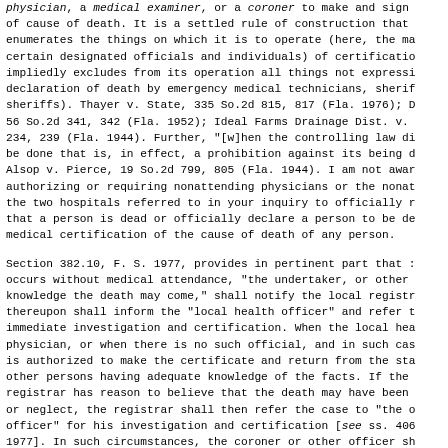physician, a medical examiner, or a coroner to make and sign of cause of death. It is a settled rule of construction that enumerates the things on which it is to operate (here, the ma certain designated officials and individuals) of certificatio impliedly excludes from its operation all things not expressl declaration of death by emergency medical technicians, sherif sheriffs). Thayer v. State, 335 So.2d 815, 817 (Fla. 1976); D 56 So.2d 341, 342 (Fla. 1952); Ideal Farms Drainage Dist. v. 234, 239 (Fla. 1944). Further, "[w]hen the controlling law di be done that is, in effect, a prohibition against its being d Alsop v. Pierce, 19 So.2d 799, 805 (Fla. 1944). I am not awar authorizing or requiring nonattending physicians or the nonat the two hospitals referred to in your inquiry to officially r that a person is dead or officially declare a person to be de medical certification of the cause of death of any person.
Section 382.10, F. S. 1977, provides in pertinent part that : occurs without medical attendance, "the undertaker, or other knowledge the death may come," shall notify the local registr thereupon shall inform the "local health officer" and refer t immediate investigation and certification. When the local hea physician, or when there is no such official, and in such cas is authorized to make the certificate and return from the sta other persons having adequate knowledge of the facts. If the registrar has reason to believe that the death may have been or neglect, the registrar shall then refer the case to "the o officer" for his investigation and certification [see ss. 406 1977]. In such circumstances, the coroner or other officer sh of death. See also s. 406.11(1)(a) 5., F. S. 1977, requiring examiner determine the cause of death in cases where death oc attendance, and s. 825.09, F. S. 1977, authorizing a state